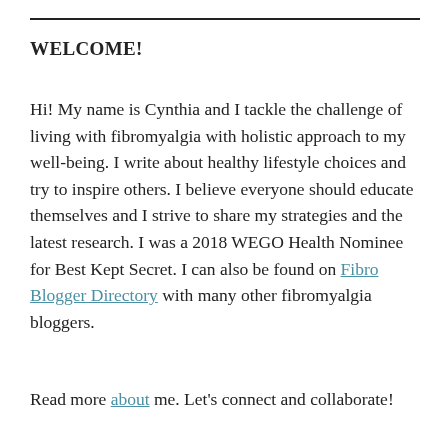WELCOME!
Hi! My name is Cynthia and I tackle the challenge of living with fibromyalgia with holistic approach to my well-being. I write about healthy lifestyle choices and try to inspire others. I believe everyone should educate themselves and I strive to share my strategies and the latest research. I was a 2018 WEGO Health Nominee for Best Kept Secret. I can also be found on Fibro Blogger Directory with many other fibromyalgia bloggers.
Read more about me. Let's connect and collaborate!